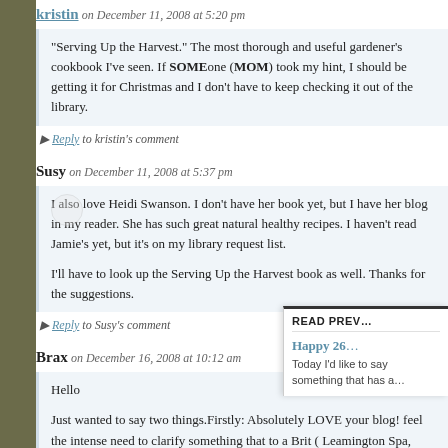kristin on December 11, 2008 at 5:20 pm
“Serving Up the Harvest.” The most thorough and useful gardener’s cookbook I’ve seen. If SOMEone (MOM) took my hint, I should be getting it for Christmas and don’t have to keep checking it out of the library.
Reply to kristin’s comment
Susy on December 11, 2008 at 5:37 pm
I also love Heidi Swanson. I don’t have her book yet, but I have her blog in my reader. She has such great natural healthy recipes. I haven’t read Jamie’s yet, but it’s on my library request list.
I’ll have to look up the Serving Up the Harvest book as well. Thanks for the suggestions.
Reply to Susy’s comment
Brax on December 16, 2008 at 10:12 am
Hello
Just wanted to say two things.Firstly: Absolutely LOVE y... feel the intense need to clarify something that to a Brit ( ... Warwickshire,UK) is extremely important. Jamie Oliver ... with Public schools. In the UK Public Schools are private schools
[Figure (other): READ PREV overlay panel showing Happy 26... article preview]